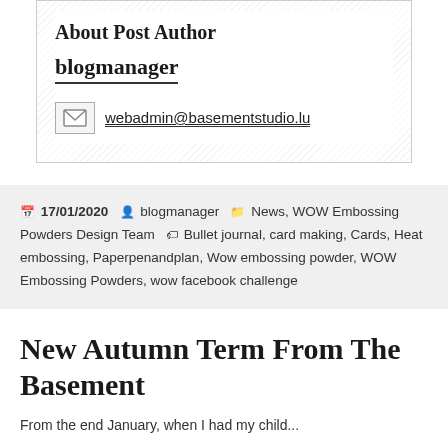About Post Author
blogmanager
webadmin@basementstudio.lu
17/01/2020   blogmanager   News, WOW Embossing Powders Design Team   Bullet journal, card making, Cards, Heat embossing, Paperpenandplan, Wow embossing powder, WOW Embossing Powders, wow facebook challenge
New Autumn Term From The Basement
From the end January, when I had my child...